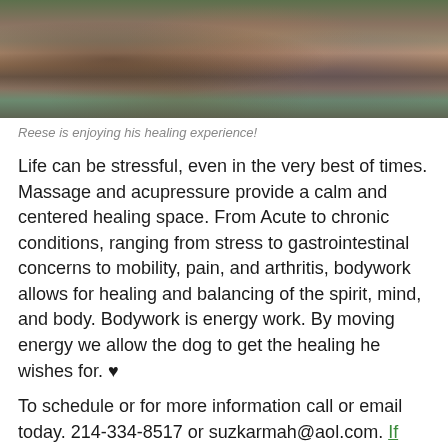[Figure (photo): Photo of a dog receiving massage/healing bodywork, lying on colorful blankets and patterned fabric]
Reese is enjoying his healing experience!
Life can be stressful, even in the very best of times. Massage and acupressure provide a calm and centered healing space. From Acute to chronic conditions, ranging from stress to gastrointestinal concerns to mobility, pain, and arthritis, bodywork allows for healing and balancing of the spirit, mind, and body. Bodywork is energy work. By moving energy we allow the dog to get the healing he wishes for. ♥
To schedule or for more information call or email today. 214-334-8517 or suzkarmah@aol.com. If you are interested in studying Canine, small animal or Equine therapies, click here for further information.